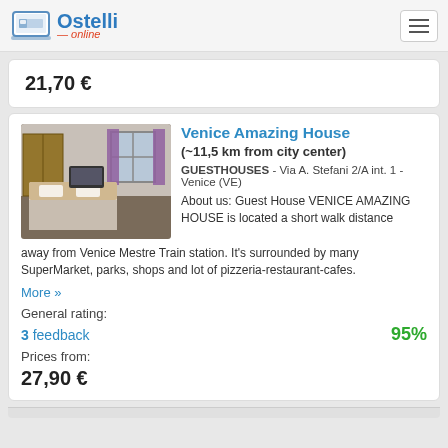Ostelli online
21,70 €
Venice Amazing House
(~11,5 km from city center)
GUESTHOUSES - Via A. Stefani 2/A int. 1 - Venice (VE)
About us: Guest House VENICE AMAZING HOUSE is located a short walk distance away from Venice Mestre Train station. It's surrounded by many SuperMarket, parks, shops and lot of pizzeria-restaurant-cafes.
More »
General rating:
3 feedback
95%
Prices from:
27,90 €